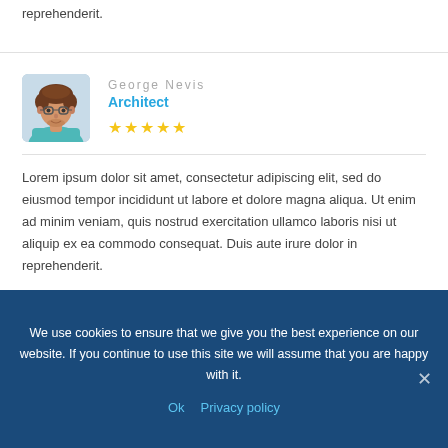reprehenderit.
[Figure (photo): Portrait photo of a young man with curly hair and glasses wearing a patterned shirt, avatar style]
George Nevis
Architect
★★★★★
Lorem ipsum dolor sit amet, consectetur adipiscing elit, sed do eiusmod tempor incididunt ut labore et dolore magna aliqua. Ut enim ad minim veniam, quis nostrud exercitation ullamco laboris nisi ut aliquip ex ea commodo consequat. Duis aute irure dolor in reprehenderit.
We use cookies to ensure that we give you the best experience on our website. If you continue to use this site we will assume that you are happy with it.
Ok   Privacy policy